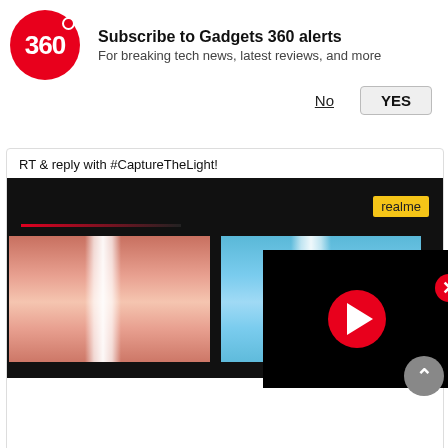[Figure (logo): Gadgets 360 red circle logo with '360' text]
Subscribe to Gadgets 360 alerts
For breaking tech news, latest reviews, and more
No   YES
RT & reply with #CaptureTheLight!
[Figure (photo): Realme smartphone back panel close-up showing two color variants (pink/rose gold and blue) with light reflection streaks. A video thumbnail overlay in bottom right with red play button. A red X close button. realme branding badge in top right.]
9:54 AM · Feb 2, 2022
562   Reply   Copy link to Tweet
Read 51 replies